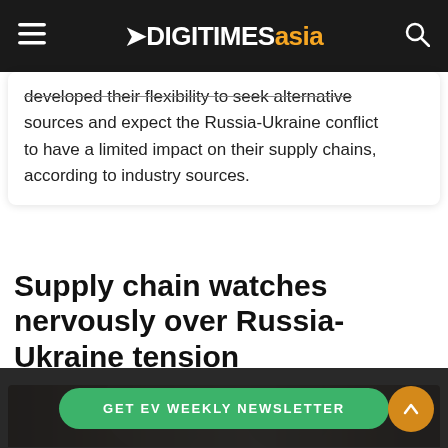DIGITIMES asia
developed their flexibility to seek alternative sources and expect the Russia-Ukraine conflict to have a limited impact on their supply chains, according to industry sources.
Supply chain watches nervously over Russia-Ukraine tension
[Figure (photo): Blurred photo of people, likely political figures, in an indoor setting]
GET EV WEEKLY NEWSLETTER